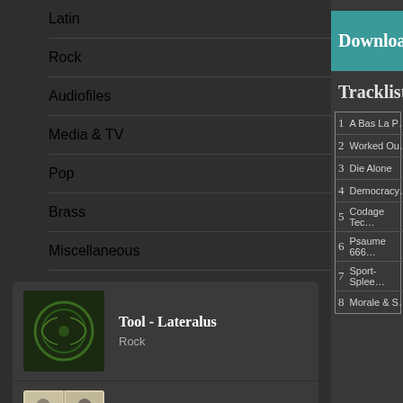Latin
Rock
Audiofiles
Media & TV
Pop
Brass
Miscellaneous
[Figure (illustration): Album card: Tool - Lateralus, Rock genre]
[Figure (illustration): Album card: Gorillaz - Demon Days, Electronic / Hip hop / Rock / Pop genre]
[Figure (illustration): Album card: Moodymann - (truncated)]
[Figure (screenshot): Download button (teal/dark teal)]
Tracklist
| # | Track |
| --- | --- |
| 1 | A Bas La P… |
| 2 | Worked Ou… |
| 3 | Die Alone |
| 4 | Democracy… |
| 5 | Codage Tec… |
| 6 | Psaume 666… |
| 7 | Sport-Splee… |
| 8 | Morale & S… |